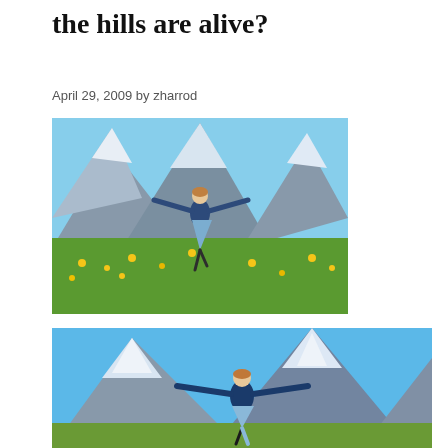the hills are alive?
April 29, 2009 by zharrod
[Figure (photo): Woman in blue dress with arms outstretched spinning in an alpine meadow with yellow wildflowers, snowy mountain peaks behind — Sound of Music iconic scene (smaller/portrait crop)]
[Figure (photo): Same woman in blue dress with arms outstretched in front of large snowy mountain peaks, alpine scene — Sound of Music iconic scene (wider/landscape crop, cut off at bottom)]